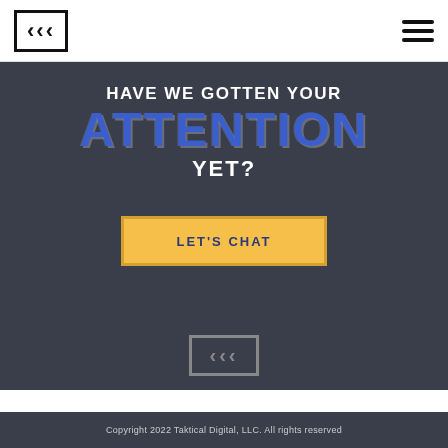[Figure (logo): Taktical Digital logo: three left-pointing arrows/chevrons inside a rectangular border, top-left of header]
[Figure (other): Hamburger menu icon: three horizontal lines, top-right of header]
HAVE WE GOTTEN YOUR ATTENTION YET?
LET'S CHAT
[Figure (logo): Taktical Digital logo: three left-pointing arrows/chevrons inside a rectangular border, centered in dark section]
Copyright 2022 Taktical Digital, LLC. All rights reserved